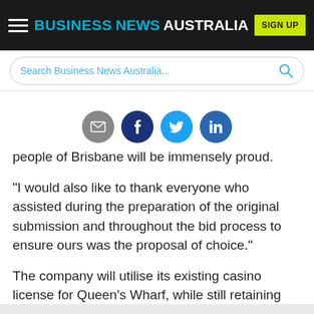BUSINESS NEWS AUSTRALIA
[Figure (screenshot): Search bar with placeholder text 'Search Business News Australia...' and a search icon]
[Figure (infographic): Row of social sharing icons: email (grey), facebook (dark blue), twitter (light blue), linkedin (blue)]
people of Brisbane will be immensely proud.
"I would also like to thank everyone who assisted during the preparation of the original submission and throughout the bid process to ensure ours was the proposal of choice."
The company will utilise its existing casino license for Queen's Wharf, while still retaining ownership of the Treasury casino buildings. The property will be repurposed into a retail and accommodation offering.
Echo chairman John O'Neill says the group will eventually make the interstate move from Sydney to oversee the venture.